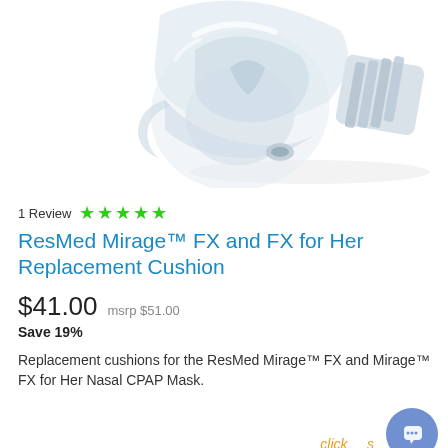[Figure (photo): Transparent CPAP nasal mask cushion (ResMed Mirage FX replacement cushion) photographed from above on white background, showing clear silicone/plastic material with molded structure]
1 Review ★★★★★
ResMed Mirage™ FX and FX for Her Replacement Cushion
$41.00  msrp $51.00
Save 19%
Replacement cushions for the ResMed Mirage™ FX and Mirage™ FX for Her Nasal CPAP Mask.
click   s